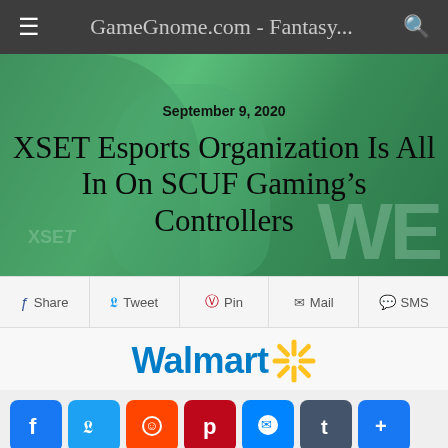GameGnome.com - Fantasy...
[Figure (photo): Hero image showing esports players with green tinted overlay and large WE text, with article date and title overlaid]
September 9, 2020
XSET Esports Organization Is All In On SCUF Gaming’s Controllers
[Figure (infographic): Share bar with Share, Tweet, Pin, Mail, SMS buttons]
[Figure (logo): Walmart logo with spark/asterisk icon]
[Figure (infographic): Social sharing icon buttons: Facebook, Twitter, Reddit, Pinterest, Messenger, Tumblr, More]
XSET, the newly launched gaming and lifestyle